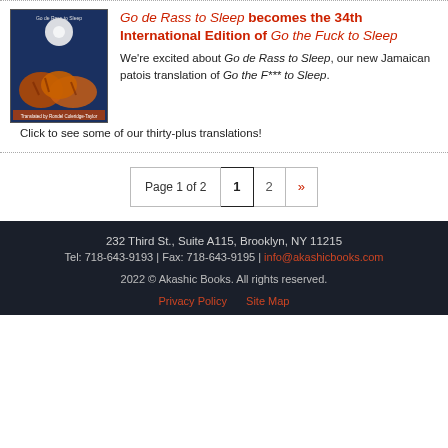[Figure (photo): Book cover of 'Go de Rass to Sleep' showing tigers on a dark blue background]
Go de Rass to Sleep becomes the 34th International Edition of Go the Fuck to Sleep
We're excited about Go de Rass to Sleep, our new Jamaican patois translation of Go the F*** to Sleep. Click to see some of our thirty-plus translations!
Page 1 of 2  1  2  »
232 Third St., Suite A115, Brooklyn, NY 11215
Tel: 718-643-9193 | Fax: 718-643-9195 | info@akashicbooks.com
2022 © Akashic Books. All rights reserved.
Privacy Policy   Site Map